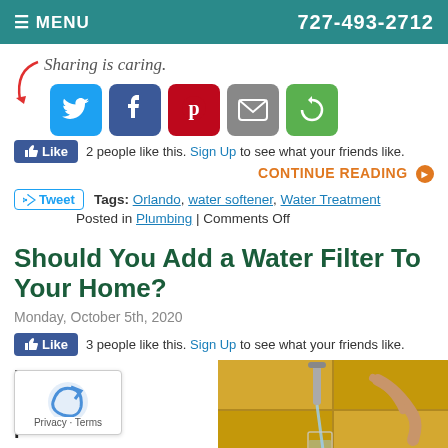≡ MENU   727-493-2712
[Figure (infographic): Sharing is caring social share buttons: Twitter, Facebook, Pinterest, Email, Share]
2 people like this. Sign Up to see what your friends like.
CONTINUE READING ❯
Tags: Orlando, water softener, Water Treatment
Posted in Plumbing | Comments Off
Should You Add a Water Filter To Your Home?
Monday, October 5th, 2020
3 people like this. Sign Up to see what your friends like.
Have you
ne
r
and found
[Figure (photo): Photo of water running from a faucet into a glass, with yellow tiled background]